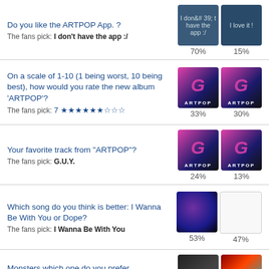Do you like the ARTPOP App. ? The fans pick: I don't have the app :/
On a scale of 1-10 (1 being worst, 10 being best), how would you rate the new album 'ARTPOP'? The fans pick: 7 ★★★★★★☆☆☆
Your favorite track from "ARTPOP"? The fans pick: G.U.Y.
Which song do you think is better: I Wanna Be With You or Dope? The fans pick: I Wanna Be With You
Monsters which one do you prefer out of these epic songs?